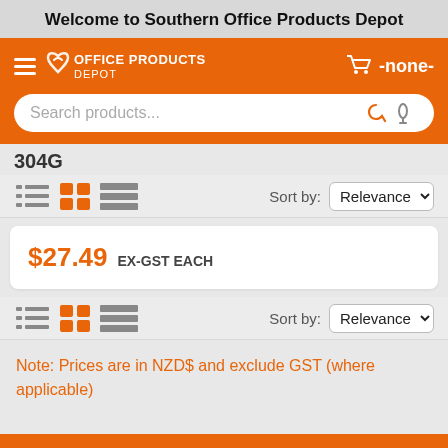Welcome to Southern Office Products Depot
[Figure (screenshot): Orange navigation header with hamburger menu, Office Products Depot logo, cart icon showing -none-, and a search bar with microphone and search icons]
304G
[Figure (screenshot): Toolbar row with list/grid view icons and Sort by Relevance dropdown]
$27.49 Ex-GST EACH
[Figure (screenshot): Second toolbar row with list/grid view icons and Sort by Relevance dropdown]
Note: Prices are in NZD$ and exclude GST (where applicable)